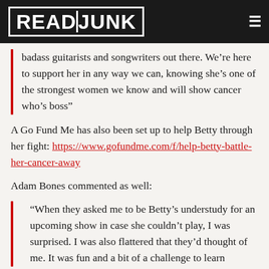READ JUNK
badass guitarists and songwriters out there. We’re here to support her in any way we can, knowing she’s one of the strongest women we know and will show cancer who’s boss”
A Go Fund Me has also been set up to help Betty through her fight: https://www.gofundme.com/f/help-betty-battle-her-cancer-away
Adam Bones commented as well:
“When they asked me to be Betty’s understudy for an upcoming show in case she couldn’t play, I was surprised. I was also flattered that they’d thought of me. It was fun and a bit of a challenge to learn